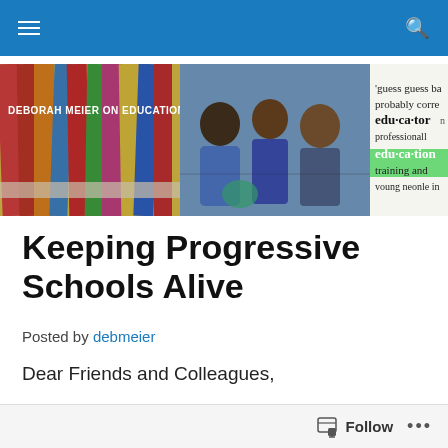Navigation bar with hamburger menu and search icon
[Figure (photo): Banner image for 'Deborah Meier on Education' blog showing colored pencils, students working together, a dictionary page with 'educator' and 'education' entries highlighted, and a black and white photo of Deborah Meier]
Keeping Progressive Schools Alive
Posted by debmeier
Dear Friends and Colleagues,
Happy New Year and a special thanks to those who respond to past blogs about choice, et al. I always mean
Follow ···